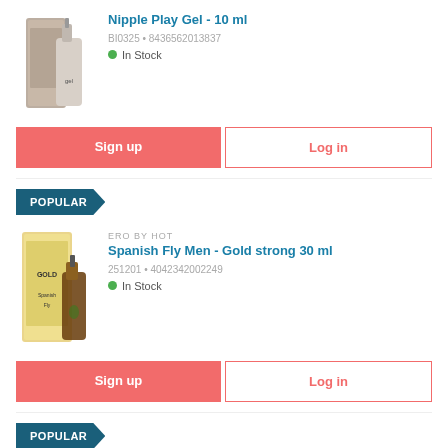Nipple Play Gel - 10 ml
BI0325 • 8436562013837
In Stock
Sign up
Log in
POPULAR
ERO BY HOT
Spanish Fly Men - Gold strong 30 ml
251201 • 4042342002249
In Stock
Sign up
Log in
POPULAR
RUF